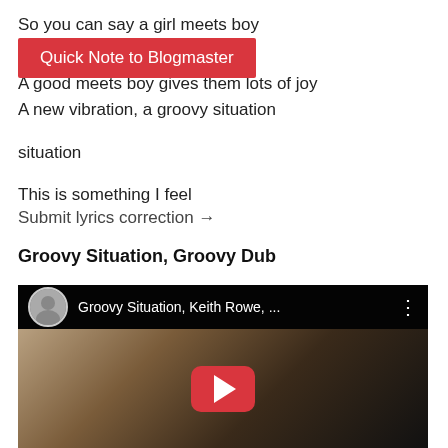So you can say a girl meets boy
Quick Note to Blogmaster
situation
A good meets boy gives them lots of joy
A new vibration, a groovy situation
This is something I feel
Submit lyrics correction →
Groovy Situation, Groovy Dub
[Figure (screenshot): YouTube video embed showing 'Groovy Situation, Keith Rowe, ...' with a play button overlay and a person with dreadlocks in the thumbnail]